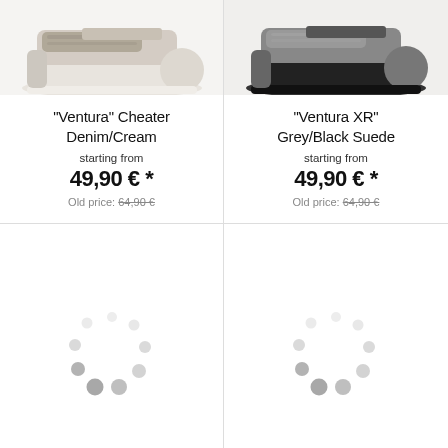[Figure (photo): Partial view of a Ventura Cheater Denim/Cream shoe, cropped at top]
"Ventura" Cheater Denim/Cream
starting from
49,90 € *
Old price: 64,90 €
[Figure (photo): Partial view of a Ventura XR Grey/Black Suede shoe, cropped at top]
"Ventura XR" Grey/Black Suede
starting from
49,90 € *
Old price: 64,90 €
[Figure (other): Loading spinner indicator (circular dots pattern)]
[Figure (other): Loading spinner indicator (circular dots pattern)]